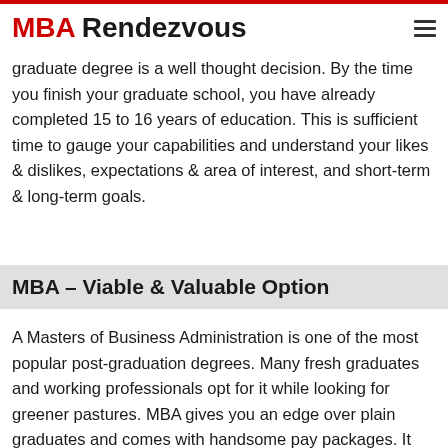MBA Rendezvous
graduate degree is a well thought decision. By the time you finish your graduate school, you have already completed 15 to 16 years of education. This is sufficient time to gauge your capabilities and understand your likes & dislikes, expectations & area of interest, and short-term & long-term goals.
MBA – Viable & Valuable Option
A Masters of Business Administration is one of the most popular post-graduation degrees. Many fresh graduates and working professionals opt for it while looking for greener pastures. MBA gives you an edge over plain graduates and comes with handsome pay packages. It enhances your technical knowledge,